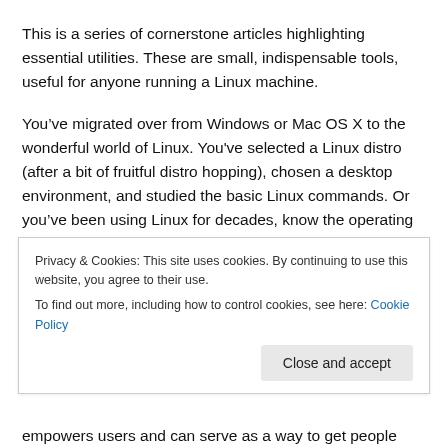This is a series of cornerstone articles highlighting essential utilities. These are small, indispensable tools, useful for anyone running a Linux machine.
You’ve migrated over from Windows or Mac OS X to the wonderful world of Linux. You’ve selected a Linux distro (after a bit of fruitful distro hopping), chosen a desktop environment, and studied the basic Linux commands. Or you’ve been using Linux for decades, know the operating system like the back of your hand. Whatever your level of experience, you want some really useful free utilities. Software that enriches your workflow, offers new opportunities, and allows you to tap into new
Privacy & Cookies: This site uses cookies. By continuing to use this website, you agree to their use.
To find out more, including how to control cookies, see here: Cookie Policy
empowers users and can serve as a way to get people